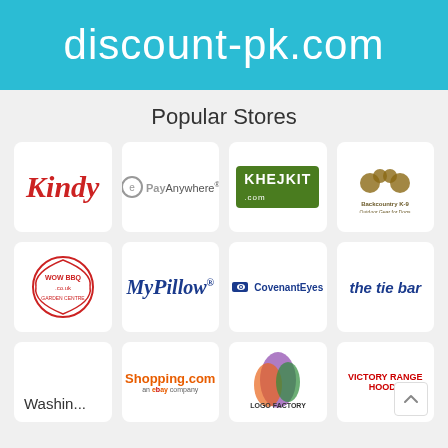discount-pk.com
Popular Stores
[Figure (logo): Kindy logo - red italic cursive text]
[Figure (logo): PayAnywhere logo - grey circle icon with e, followed by PayAnywhere text]
[Figure (logo): KhelKit.com logo - white text on green background]
[Figure (logo): Backcountry K-9 Outdoor Gear for Dogs logo - brown paw print with text]
[Figure (logo): WOWBBQ.co.uk logo - red circular badge stamp design]
[Figure (logo): MyPillow logo - blue italic script text]
[Figure (logo): CovenantEyes logo - dark blue text with eye icon]
[Figure (logo): the tie bar logo - dark blue bold italic text]
[Figure (logo): Washin... (Washington something) logo - grey text truncated]
[Figure (logo): Shopping.com an eBay company logo]
[Figure (logo): Logo Factory - colorful paint splash logo]
[Figure (logo): Victory Range Hoods logo - red and white]